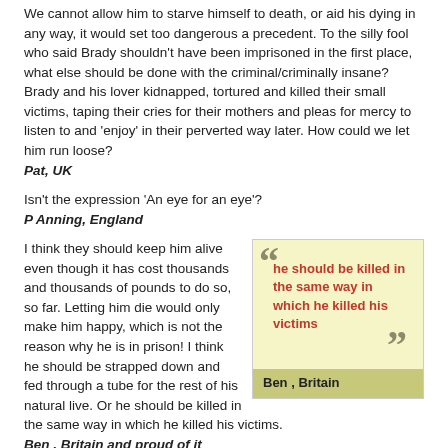We cannot allow him to starve himself to death, or aid his dying in any way, it would set too dangerous a precedent. To the silly fool who said Brady shouldn't have been imprisoned in the first place, what else should be done with the criminal/criminally insane? Brady and his lover kidnapped, tortured and killed their small victims, taping their cries for their mothers and pleas for mercy to listen to and 'enjoy' in their perverted way later. How could we let him run loose? Pat, UK
Isn't the expression 'An eye for an eye'? P Anning, England
[Figure (infographic): Pull quote box with yellow background reading 'he should be killed in the same way in which he killed his victims' in red bold text, with large quotation marks and attribution 'Ben , Britain' on an olive/yellow background strip.]
I think they should keep him alive even though it has cost thousands and thousands of pounds to do so, so far. Letting him die would only make him happy, which is not the reason why he is in prison! I think he should be strapped down and fed through a tube for the rest of his natural live. Or he should be killed in the same way in which he killed his victims. Ben , Britain and proud of it
As a taxpayer in Britain and therefore someone who contributes to the prison fund I don't see why I should be forced to pay for other peoples vindictive and cruel